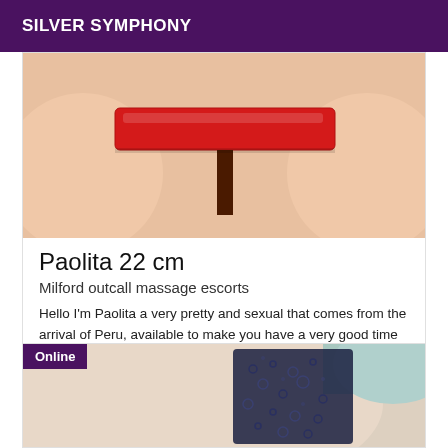SILVER SYMPHONY
[Figure (photo): Close-up photo showing skin tones with a red rectangular object and a dark handle/stem at center bottom, cropped at bottom of frame]
Paolita 22 cm
Milford outcall massage escorts
Hello I'm Paolita a very pretty and sexual that comes from the arrival of Peru, available to make you have a very good time so nice with all the deuceur and the realization of your sexual fantasia.... call me back for more information.I'm waiting for you.thank you ...Kisses
[Figure (photo): Photo showing skin and dark navy lace fabric/lingerie detail, with an 'Online' badge overlaid in purple at top left]